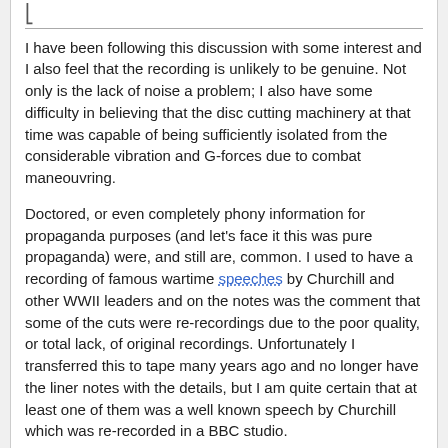I have been following this discussion with some interest and I also feel that the recording is unlikely to be genuine. Not only is the lack of noise a problem; I also have some difficulty in believing that the disc cutting machinery at that time was capable of being sufficiently isolated from the considerable vibration and G-forces due to combat maneouvring.
Doctored, or even completely phony information for propaganda purposes (and let's face it this was pure propaganda) were, and still are, common. I used to have a recording of famous wartime speeches by Churchill and other WWII leaders and on the notes was the comment that some of the cuts were re-recordings due to the poor quality, or total lack, of original recordings. Unfortunately I transferred this to tape many years ago and no longer have the liner notes with the details, but I am quite certain that at least one of them was a well known speech by Churchill which was re-recorded in a BBC studio.
I'm tempted to consign this to the collection of "official" items containing such things as "Cats Eyes Cunningham" and his carrots, which was widely believed at the time; and probably still is by some.